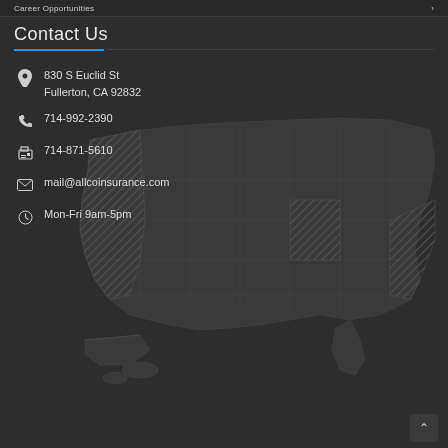Career Opportunities
Contact Us
830 S Euclid St
Fullerton, CA 92832
714-992-2390
714-871-5610
mail@allcoinsurance.com
Mon-Fri 9am-5pm
[Figure (map): USA map outline in dark gray with California state highlighted with diagonal hatching pattern, and additional hatched regions in the midwest/southeast area.]